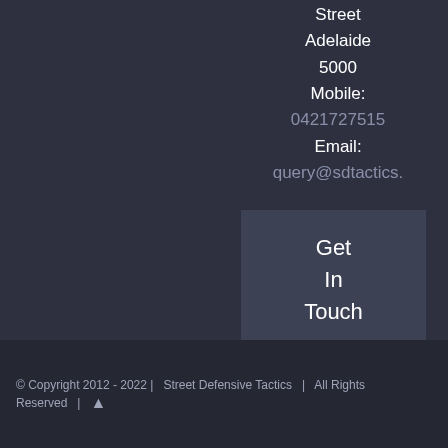Street
Adelaide
5000
Mobile:
0421727515
Email:
query@sdtactics.
Get
In
Touch
© Copyright 2012 - 2022 |   Street Defensive Tactics  |   All Rights Reserved  |